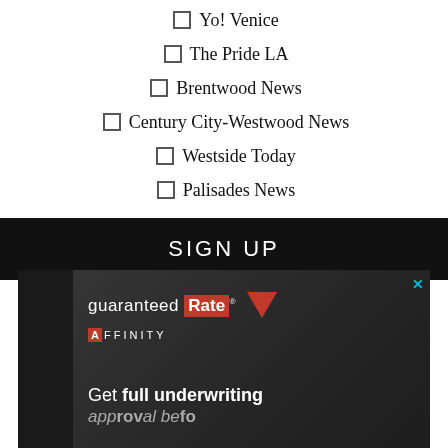☐ Yo! Venice
☐ The Pride LA
☐ Brentwood News
☐ Century City-Westwood News
☐ Westside Today
☐ Palisades News
SIGN UP
[Figure (photo): Guaranteed Rate Affinity advertisement showing the logo and text 'Get full underwriting' on a dark background]